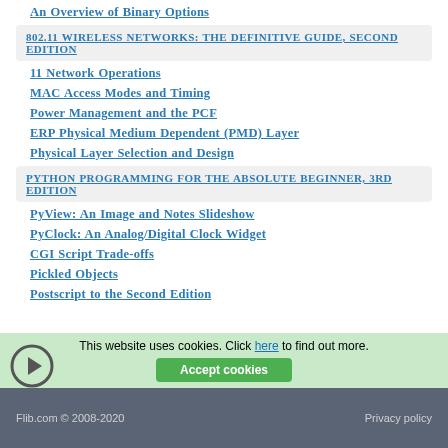An Overview of Binary Options
802.11 WIRELESS NETWORKS: THE DEFINITIVE GUIDE, SECOND EDITION
11 Network Operations
MAC Access Modes and Timing
Power Management and the PCF
ERP Physical Medium Dependent (PMD) Layer
Physical Layer Selection and Design
PYTHON PROGRAMMING FOR THE ABSOLUTE BEGINNER, 3RD EDITION
PyView: An Image and Notes Slideshow
PyClock: An Analog/Digital Clock Widget
CGI Script Trade-offs
Pickled Objects
Postscript to the Second Edition
Flib.com © 2008-2020   Privacy policy
This website uses cookies. Click here to find out more.
Accept cookies